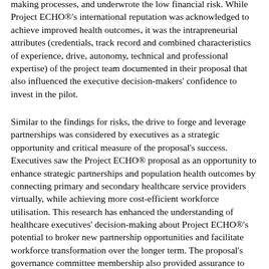making processes, and underwrote the low financial risk. While Project ECHO®'s international reputation was acknowledged to achieve improved health outcomes, it was the intrapreneurial attributes (credentials, track record and combined characteristics of experience, drive, autonomy, technical and professional expertise) of the project team documented in their proposal that also influenced the executive decision-makers' confidence to invest in the pilot.
Similar to the findings for risks, the drive to forge and leverage partnerships was considered by executives as a strategic opportunity and critical measure of the proposal's success. Executives saw the Project ECHO® proposal as an opportunity to enhance strategic partnerships and population health outcomes by connecting primary and secondary healthcare service providers virtually, while achieving more cost-efficient workforce utilisation. This research has enhanced the understanding of healthcare executives' decision-making about Project ECHO®'s potential to broker new partnership opportunities and facilitate workforce transformation over the longer term. The proposal's governance committee membership also provided assurance to executive decision-makers that the project team could demonstrate commitment to engaging consumers in the pilot implementation. The governance committee structure proposed consumer expertise and influence would be harnessed throughout the implementation phase to enhance co-production processes.